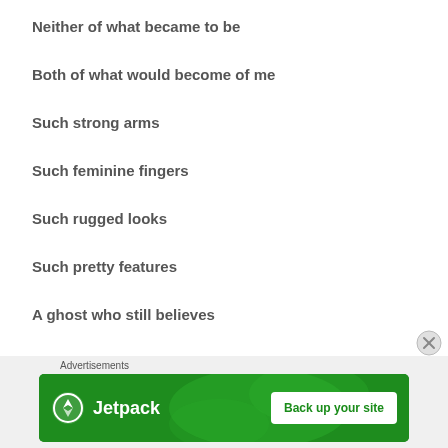Neither of what became to be
Both of what would become of me
Such strong arms
Such feminine fingers
Such rugged looks
Such pretty features
A ghost who still believes
In the power of creativity
[Figure (other): Jetpack advertisement banner with green background, Jetpack logo on left, and 'Back up your site' button on right]
Advertisements